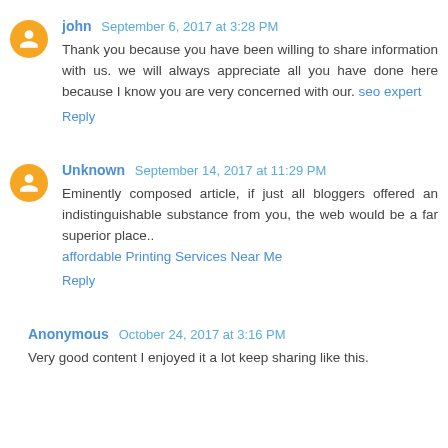john  September 6, 2017 at 3:28 PM
Thank you because you have been willing to share information with us. we will always appreciate all you have done here because I know you are very concerned with our. seo expert
Reply
Unknown  September 14, 2017 at 11:29 PM
Eminently composed article, if just all bloggers offered an indistinguishable substance from you, the web would be a far superior place..
affordable Printing Services Near Me
Reply
Anonymous  October 24, 2017 at 3:16 PM
Very good content I enjoyed it a lot keep sharing like this.